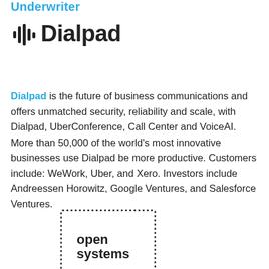Underwriter
[Figure (logo): Dialpad logo: waveform/audio bars icon followed by bold text 'Dialpad']
Dialpad is the future of business communications and offers unmatched security, reliability and scale, with Dialpad, UberConference, Call Center and VoiceAI. More than 50,000 of the world's most innovative businesses use Dialpad be more productive. Customers include: WeWork, Uber, and Xero. Investors include Andreessen Horowitz, Google Ventures, and Salesforce Ventures.
[Figure (logo): Open Systems logo: dotted border rectangle containing the text 'open systems' in bold lowercase]